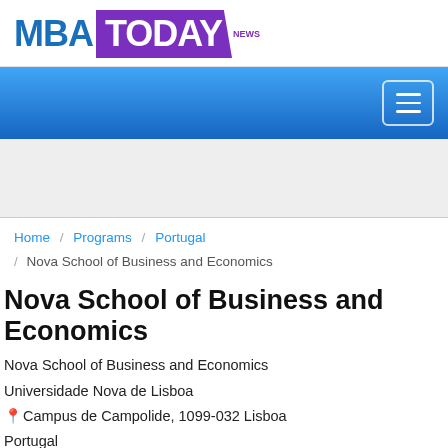[Figure (logo): MBA TODAY NEWS logo with MBA in blue and TODAY in purple parallelogram banner]
[Figure (screenshot): Blue gradient navigation bar with hamburger menu icon button on the right]
[Figure (other): Light grey advertisement placeholder area]
Home / Programs / Portugal / Nova School of Business and Economics
Nova School of Business and Economics
Nova School of Business and Economics
Universidade Nova de Lisboa
Campus de Campolide, 1099-032 Lisboa
Portugal
(+351) 213 801 600